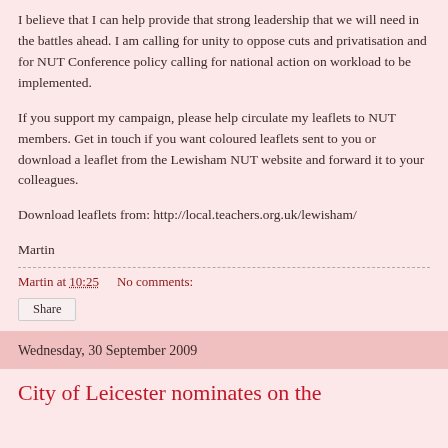I believe that I can help provide that strong leadership that we will need in the battles ahead. I am calling for unity to oppose cuts and privatisation and for NUT Conference policy calling for national action on workload to be implemented.
If you support my campaign, please help circulate my leaflets to NUT members. Get in touch if you want coloured leaflets sent to you or download a leaflet from the Lewisham NUT website and forward it to your colleagues.
Download leaflets from: http://local.teachers.org.uk/lewisham/
Martin
Martin at 10:25   No comments:
Share
Wednesday, 30 September 2009
City of Leicester nominates on the